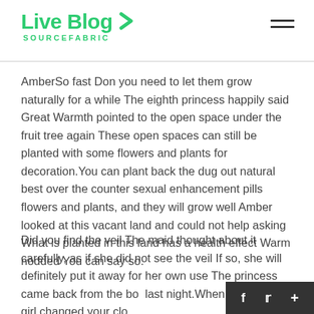Live Blog SOURCEFABRIC
AmberSo fast Don you need to let them grow naturally for a while The eighth princess happily said Great Warmth pointed to the open space under the fruit tree again These open spaces can still be planted with some flowers and plants for decoration.You can plant back the dug out natural best over the counter sexual enhancement pills flowers and plants, and they will grow well Amber looked at this vacant land and could not help asking What is planted in this land has a health effect Warm nodded You can say so.
Did you find the veil The maid thought about it carefully, as if she did not see the veil If so, she will definitely put it away for her own use The princess came back from the bo... last night.When the servant girl changed your clo...